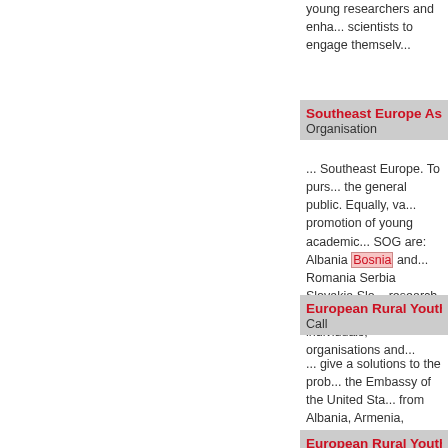young researchers and enha... scientists to engage themselv...
Southeast Europe Associa... Organisation
... Southeast Europe. To purs... the general public. Equally, va... promotion of young academic... SOG are: Albania Bosnia and... Romania Serbia Slovakia Slo... research and cooperation the... individuals, organisations and...
European Rural Youth Foru... Call
... give a solutions to the prob... the Embassy of the United Sta... from Albania, Armenia, Azerb... Hungary, Kosovo, Moldova, M... participants outside this regio... 14 2016. Feel free to contact...
European Rural Youth F...